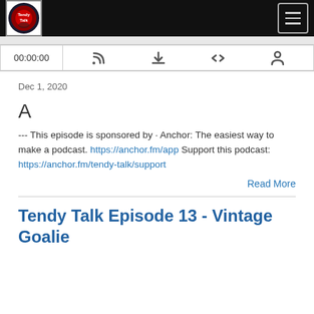[Figure (logo): Tendy Talk podcast logo in top-left of black header bar]
[Figure (screenshot): Podcast player controls bar showing 00:00:00 timestamp and icons for RSS, download, embed, and share]
Dec 1, 2020
A
--- This episode is sponsored by · Anchor: The easiest way to make a podcast. https://anchor.fm/app Support this podcast: https://anchor.fm/tendy-talk/support
Read More
Tendy Talk Episode 13 - Vintage Goalie